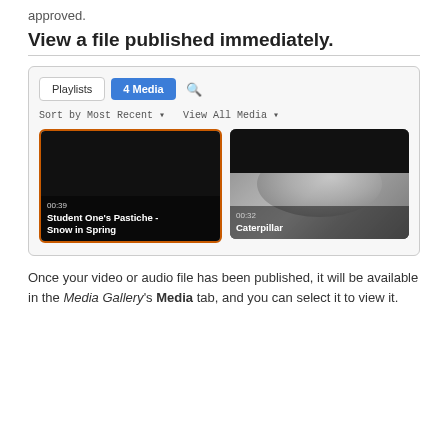approved.
View a file published immediately.
[Figure (screenshot): Media Gallery interface showing two tabs: Playlists and 4 Media (active, highlighted in blue), a search icon, sort bar reading 'Sort by Most Recent' and 'View All Media', and two video thumbnails: 'Student One's Pastiche - Snow in Spring' (00:39, selected with orange border) and 'Caterpillar' (00:32).]
Once your video or audio file has been published, it will be available in the Media Gallery's Media tab, and you can select it to view it.